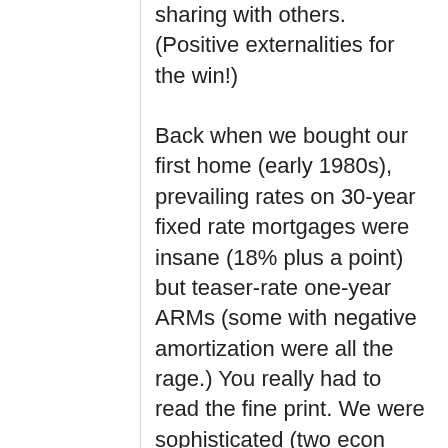sharing with others. (Positive externalities for the win!)
Back when we bought our first home (early 1980s), prevailing rates on 30-year fixed rate mortgages were insane (18% plus a point) but teaser-rate one-year ARMs (some with negative amortization were all the rage.) You really had to read the fine print. We were sophisticated (two econ PhDs) and we did read the fine print. It was the Wild West. There were good deals to be had if you knew what you were doing, especially if you knew you were likely to be living elsewhere in a few years or if the seller had an